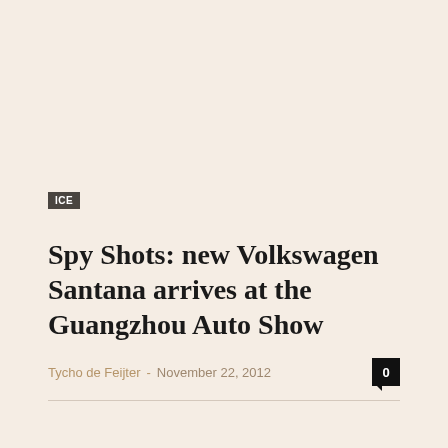ICE
Spy Shots: new Volkswagen Santana arrives at the Guangzhou Auto Show
Tycho de Feijter - November 22, 2012